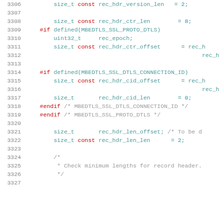Code snippet lines 3306-3327: C preprocessor and variable declarations for SSL/DTLS record header parsing (mbedTLS source code)